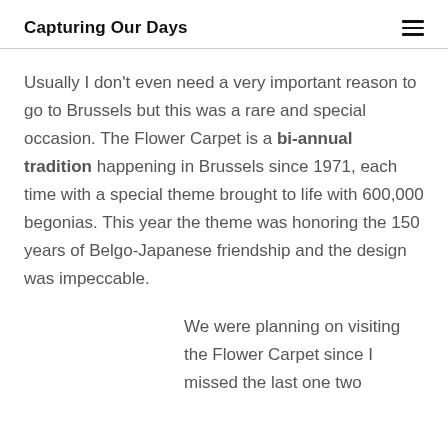Capturing Our Days
Usually I don't even need a very important reason to go to Brussels but this was a rare and special occasion. The Flower Carpet is a bi-annual tradition happening in Brussels since 1971, each time with a special theme brought to life with 600,000 begonias. This year the theme was honoring the 150 years of Belgo-Japanese friendship and the design was impeccable.
We were planning on visiting the Flower Carpet since I missed the last one two